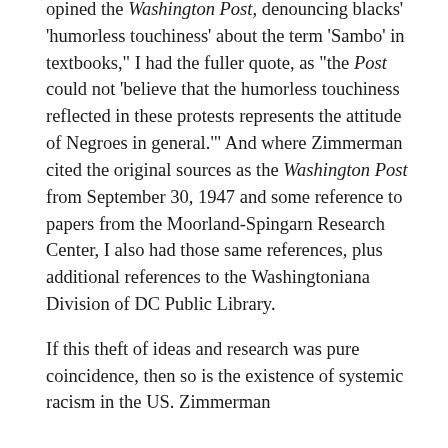opined the Washington Post, denouncing blacks' 'humorless touchiness' about the term 'Sambo' in textbooks," I had the fuller quote, as "the Post could not 'believe that the humorless touchiness reflected in these protests represents the attitude of Negroes in general.'" And where Zimmerman cited the original sources as the Washington Post from September 30, 1947 and some reference to papers from the Moorland-Spingarn Research Center, I also had those same references, plus additional references to the Washingtoniana Division of DC Public Library.
If this theft of ideas and research was pure coincidence, then so is the existence of systemic racism in the US. Zimmerman